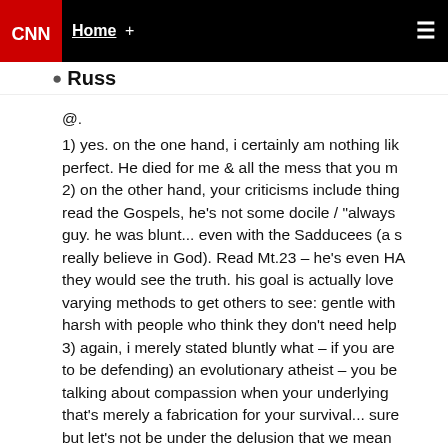CNN — Home +
Russ
@.
1) yes. on the one hand, i certainly am nothing lik perfect. He died for me & all the mess that you m
2) on the other hand, your criticisms include thing read the Gospels, he's not some docile / "always guy. he was blunt... even with the Sadducees (a s really believe in God). Read Mt.23 – he's even HA they would see the truth. his goal is actually love varying methods to get others to see: gentle with harsh with people who think they don't need help
3) again, i merely stated bluntly what – if you are to be defending) an evolutionary atheist – you be talking about compassion when your underlying that's merely a fabrication for your survival... sure but let's not be under the delusion that we mean
4) i do have a hope that Christ is working on a lc changing by his grace. but that's exactly what m things i do. if he is willing & able to change a los